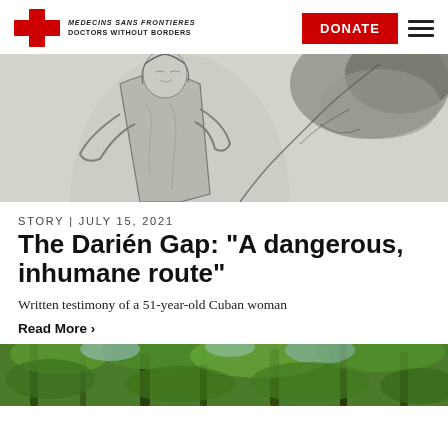MEDECINS SANS FRONTIERES DOCTORS WITHOUT BORDERS | DONATE
[Figure (illustration): Black and white illustration of a woman and tree branches/jungle foliage]
STORY | JULY 15, 2021
The Darién Gap: “A dangerous, inhumane route”
Written testimony of a 51-year-old Cuban woman
Read More >
[Figure (photo): Photograph of jungle/forest vegetation with trees and green canopy]